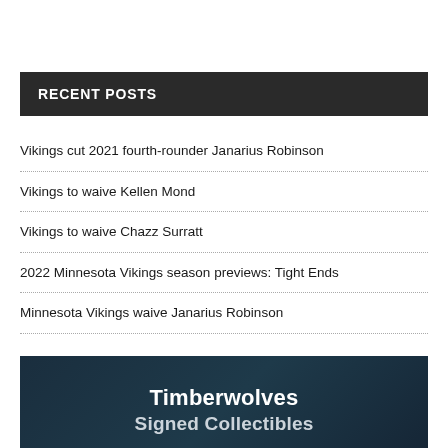RECENT POSTS
Vikings cut 2021 fourth-rounder Janarius Robinson
Vikings to waive Kellen Mond
Vikings to waive Chazz Surratt
2022 Minnesota Vikings season previews: Tight Ends
Minnesota Vikings waive Janarius Robinson
[Figure (illustration): Advertisement banner for Timberwolves Signed Collectibles with dark blue/teal background and white bold text]